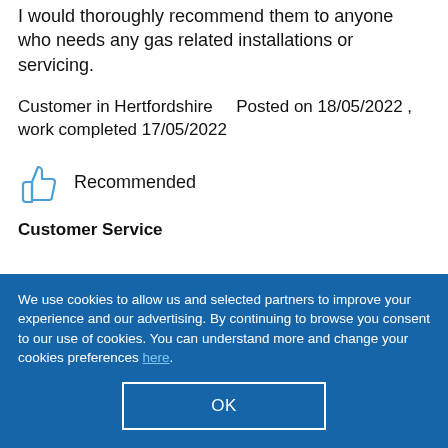I would thoroughly recommend them to anyone who needs any gas related installations or servicing.
Customer in Hertfordshire    Posted on 18/05/2022 , work completed 17/05/2022
Recommended
Customer Service
We use cookies to allow us and selected partners to improve your experience and our advertising. By continuing to browse you consent to our use of cookies. You can understand more and change your cookies preferences here.
OK